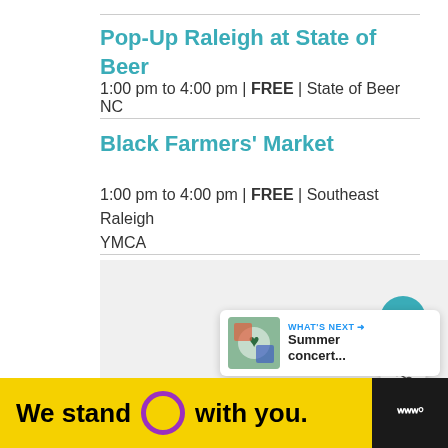Pop-Up Raleigh at State of Beer
1:00 pm to 4:00 pm | FREE | State of Beer NC
Black Farmers' Market
1:00 pm to 4:00 pm | FREE | Southeast Raleigh YMCA
[Figure (screenshot): Gray content area with floating heart and share action buttons, and a What's Next widget showing a Summer concert teaser]
[Figure (infographic): Bottom advertisement bar: black background with yellow panel reading 'We stand O with you.' with a purple circle logo, a close button, and a Merriam-Webster logo on the right]